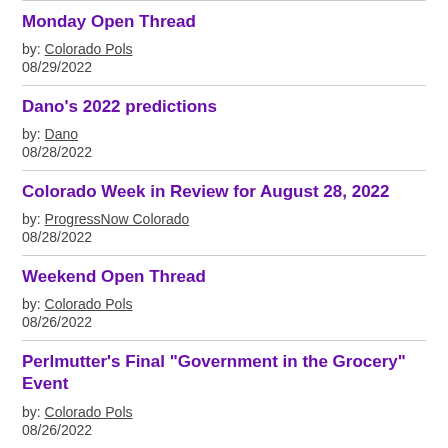Monday Open Thread
by: Colorado Pols
08/29/2022
Dano's 2022 predictions
by: Dano
08/28/2022
Colorado Week in Review for August 28, 2022
by: ProgressNow Colorado
08/28/2022
Weekend Open Thread
by: Colorado Pols
08/26/2022
Perlmutter's Final "Government in the Grocery" Event
by: Colorado Pols
08/26/2022